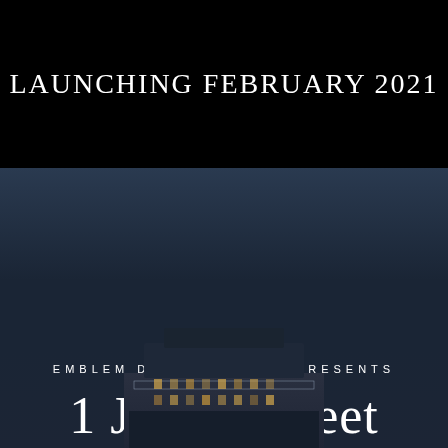LAUNCHING FEBRUARY 2021
EMBLEM DEVELOPMENTS PRESENTS
1 Jarvis Street
[Figure (photo): Architectural rendering or photograph of a modern multi-story building at dusk with illuminated windows, dark angular facade]
Be a part of the transformation as Hamilton becomes one of the best places to live in Canada. The downtown core pulses with life around the clock. It's where you'll find many live